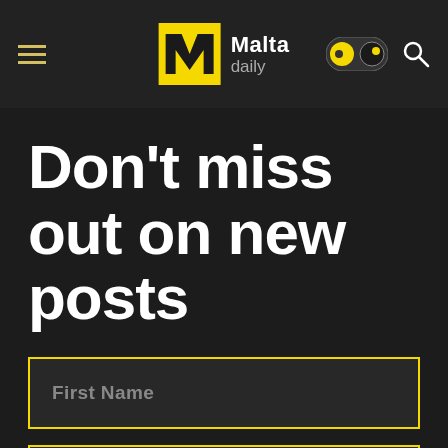Malta daily — navigation header with hamburger menu, logo, theme toggle, and search icon
Don't miss out on new posts
First Name
Last Name
Email Address